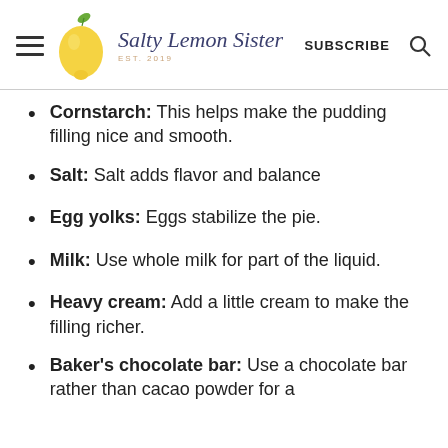Salty Lemon Sister EST. 2019 | SUBSCRIBE
Cornstarch: This helps make the pudding filling nice and smooth.
Salt: Salt adds flavor and balance
Egg yolks: Eggs stabilize the pie.
Milk: Use whole milk for part of the liquid.
Heavy cream: Add a little cream to make the filling richer.
Baker's chocolate bar: Use a chocolate bar rather than cacao powder for a